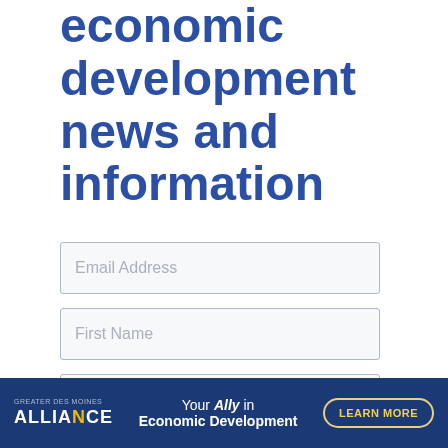economic development news and information
Email Address
First Name
Last Name
By submitting your information, you agree
[Figure (infographic): Alliance banner ad: ALLIANCE logo on dark blue background with text 'Your Ally in Economic Development' and a 'LEARN MORE' button]